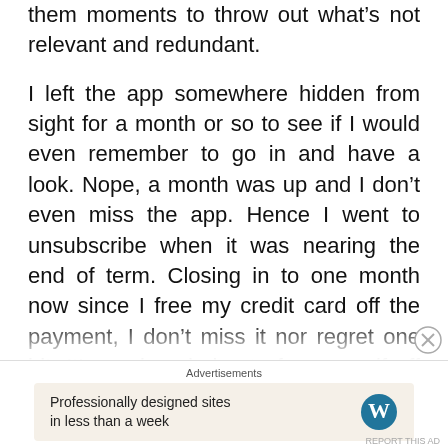them moments to throw out what's not relevant and redundant.
I left the app somewhere hidden from sight for a month or so to see if I would even remember to go in and have a look. Nope, a month was up and I don't even miss the app. Hence I went to unsubscribe when it was nearing the end of term. Closing in to one month now since I free my credit card off the payment, I don't miss it nor regret one bit. It's a wise choice to free myself off dayre. That's all to the main story of goodbye dayre.
Advertisements
Professionally designed sites in less than a week